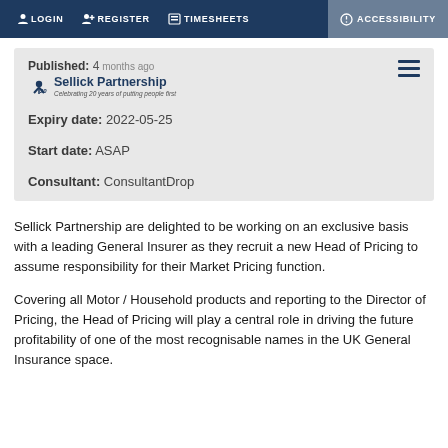LOGIN  REGISTER  TIMESHEETS  ACCESSIBILITY
Published: 4 months ago
Sellick Partnership
Celebrating 20 years of putting people first
Expiry date: 2022-05-25
Start date: ASAP
Consultant: ConsultantDrop
Sellick Partnership are delighted to be working on an exclusive basis with a leading General Insurer as they recruit a new Head of Pricing to assume responsibility for their Market Pricing function.
Covering all Motor / Household products and reporting to the Director of Pricing, the Head of Pricing will play a central role in driving the future profitability of one of the most recognisable names in the UK General Insurance space.